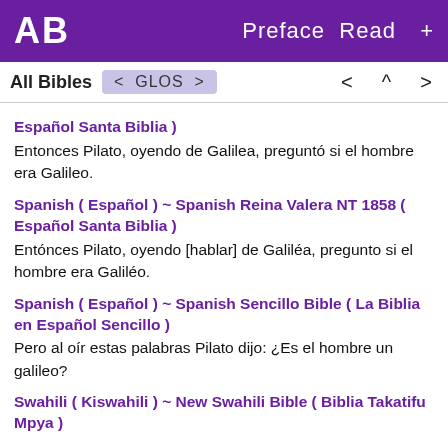AB  Preface  Read  +
All Bibles  < GLOS >   <  ^  >
Español Santa Biblia )
Entonces Pilato, oyendo de Galilea, preguntó si el hombre era Galileo.
Spanish ( Español ) ~ Spanish Reina Valera NT 1858 ( Español Santa Biblia )
Entónces Pilato, oyendo [hablar] de Galiléa, pregunto si el hombre era Galiléo.
Spanish ( Español ) ~ Spanish Sencillo Bible ( La Biblia en Español Sencillo )
Pero al oír estas palabras Pilato dijo: ¿Es el hombre un galileo?
Swahili ( Kiswahili ) ~ New Swahili Bible ( Biblia Takatifu Mpya )